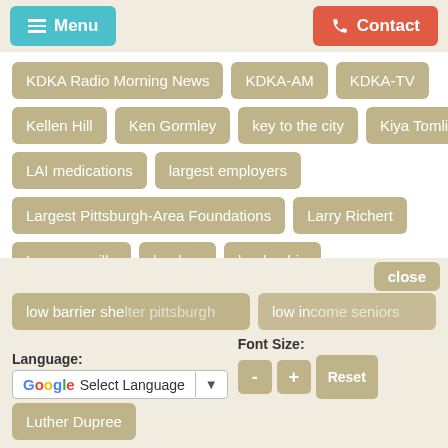Menu | Contact
KDKA Radio Morning News
KDKA-AM
KDKA-TV
Kellen Hill
Ken Gormley
key to the city
Kiya Tomlin
LAI medications
largest employers
Largest Pittsburgh-Area Foundations
Larry Richert
Lawrenceville
leaders
leadership
life expectancy for persons with mental illness
Light of Life
listen more talk less
long-acting injectibles
low barrier shelter pittsburgh
low income seniors
Luther Dupree
close
Language: Select Language | Font Size: - + Reset